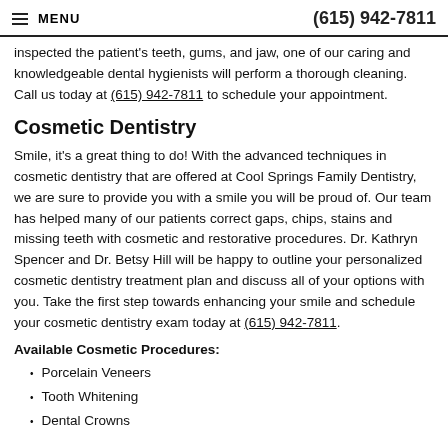MENU  (615) 942-7811
inspected the patient's teeth, gums, and jaw, one of our caring and knowledgeable dental hygienists will perform a thorough cleaning. Call us today at (615) 942-7811 to schedule your appointment.
Cosmetic Dentistry
Smile, it's a great thing to do! With the advanced techniques in cosmetic dentistry that are offered at Cool Springs Family Dentistry, we are sure to provide you with a smile you will be proud of. Our team has helped many of our patients correct gaps, chips, stains and missing teeth with cosmetic and restorative procedures. Dr. Kathryn Spencer and Dr. Betsy Hill will be happy to outline your personalized cosmetic dentistry treatment plan and discuss all of your options with you. Take the first step towards enhancing your smile and schedule your cosmetic dentistry exam today at (615) 942-7811.
Available Cosmetic Procedures:
Porcelain Veneers
Tooth Whitening
Dental Crowns